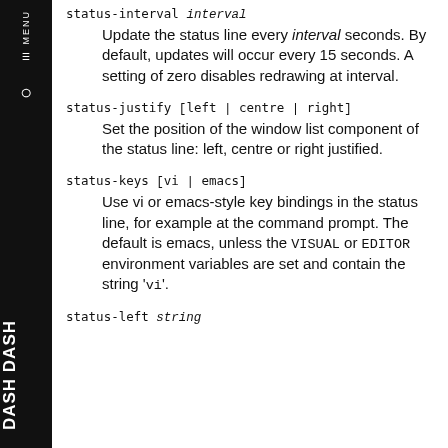status-interval interval
Update the status line every interval seconds. By default, updates will occur every 15 seconds. A setting of zero disables redrawing at interval.
status-justify [left | centre | right]
Set the position of the window list component of the status line: left, centre or right justified.
status-keys [vi | emacs]
Use vi or emacs-style key bindings in the status line, for example at the command prompt. The default is emacs, unless the VISUAL or EDITOR environment variables are set and contain the string 'vi'.
status-left string